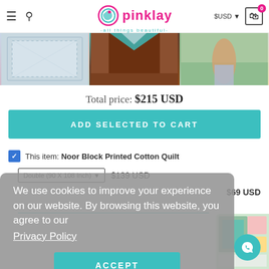pinklay - all things beautiful
[Figure (photo): Three product images: a block printed quilt, a decorative panel on a door, and a woman wearing denim shorts]
Total price: $215 USD
ADD SELECTED TO CART
This item: Noor Block Printed Cotton Quilt
Double (90 X 108 Inch) $139 USD
$69 USD
We use cookies to improve your experience on our website. By browsing this website, you agree to our Privacy Policy
ACCEPT